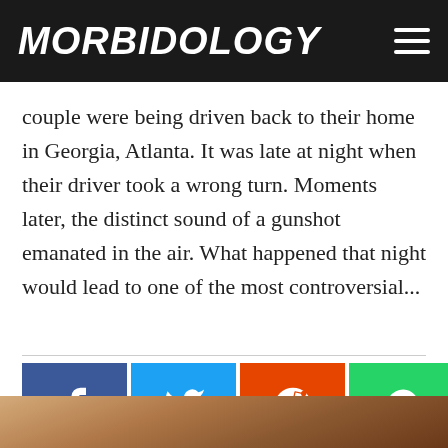MORBIDOLOGY
couple were being driven back to their home in Georgia, Atlanta. It was late at night when their driver took a wrong turn. Moments later, the distinct sound of a gunshot emanated in the air. What happened that night would lead to one of the most controversial...
[Figure (other): Social media share buttons: Facebook (blue), Twitter (light blue), Reddit (orange-red), WhatsApp (green), SMS (teal-green), Email (grey)]
[Figure (photo): Partial photo strip at bottom of page showing what appears to be a person's hat or head, brown tones]